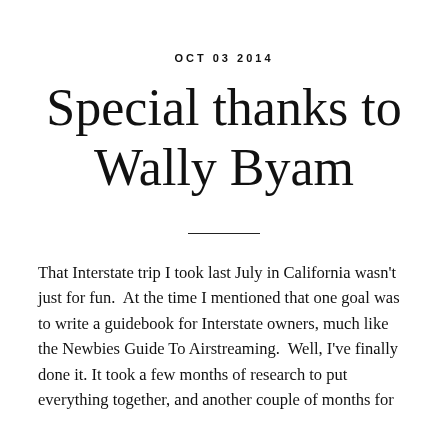OCT 03 2014
Special thanks to Wally Byam
That Interstate trip I took last July in California wasn't just for fun.  At the time I mentioned that one goal was to write a guidebook for Interstate owners, much like the Newbies Guide To Airstreaming.  Well, I've finally done it. It took a few months of research to put everything together, and another couple of months for